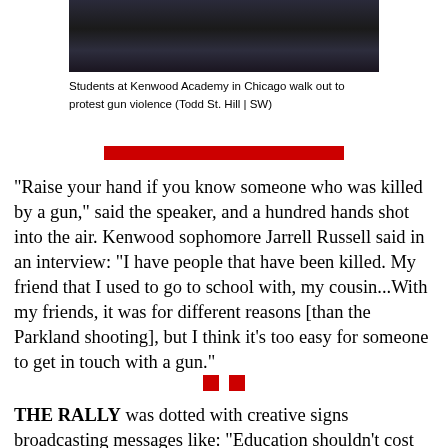[Figure (photo): Students at Kenwood Academy in Chicago walking out, shown from mid-body down]
Students at Kenwood Academy in Chicago walk out to protest gun violence (Todd St. Hill | SW)
"Raise your hand if you know someone who was killed by a gun," said the speaker, and a hundred hands shot into the air. Kenwood sophomore Jarrell Russell said in an interview: "I have people that have been killed. My friend that I used to go to school with, my cousin...With my friends, it was for different reasons [than the Parkland shooting], but I think it's too easy for someone to get in touch with a gun."
THE RALLY was dotted with creative signs broadcasting messages like: "Education shouldn't cost me my life," "Am I Next?" and "I'm walking out for the